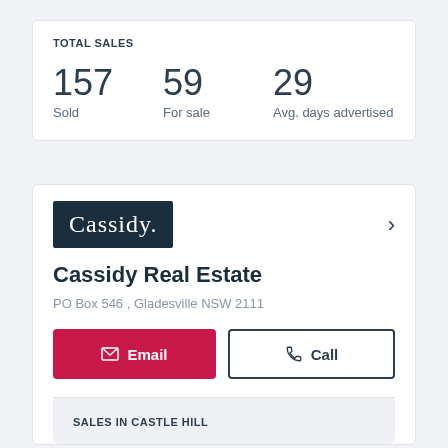TOTAL SALES
157 Sold
59 For sale
29 Avg. days advertised
[Figure (logo): Cassidy real estate logo - dark navy background with white serif text reading 'Cassidy.']
Cassidy Real Estate
PO Box 546 , Gladesville NSW 2111
Email
Call
SALES IN CASTLE HILL